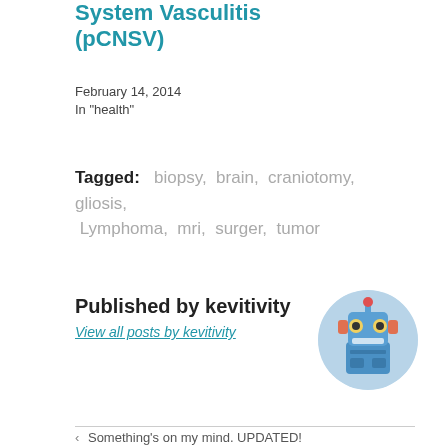System Vasculitis (pCNSV)
February 14, 2014
In "health"
Tagged: biopsy, brain, craniotomy, gliosis, Lymphoma, mri, surger, tumor
Published by kevitivity
View all posts by kevitivity
[Figure (photo): Circular avatar image of a blue toy robot with red accents]
< Something's on my mind. UPDATED!